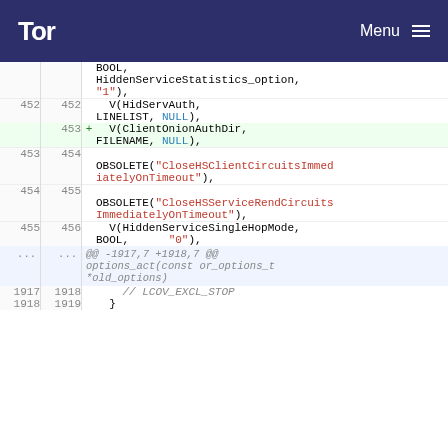Tor Menu
Code diff showing changes to tor configuration options including HiddenServiceStatistics_option, V(HidServAuth, LINELIST, NULL), V(ClientOnionAuthDir, FILENAME, NULL), OBSOLETE entries for CloseHSClientCircuitsImmediatelyOnTimeout and CloseHSServiceRendCircuitsImmediatelyOnTimeout, V(HiddenServiceSingleHopMode, BOOL, "0"), hunk header @@ -1917,7 +1918,7 @@, options_act(const or_options_t *old_options), // LCOV_EXCL_STOP, }